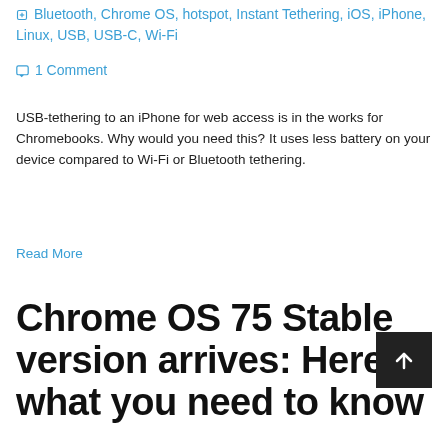🏷 Bluetooth, Chrome OS, hotspot, Instant Tethering, iOS, iPhone, Linux, USB, USB-C, Wi-Fi
💬 1 Comment
USB-tethering to an iPhone for web access is in the works for Chromebooks. Why would you need this? It uses less battery on your device compared to Wi-Fi or Bluetooth tethering.
Read More
Chrome OS 75 Stable version arrives: Here's what you need to know